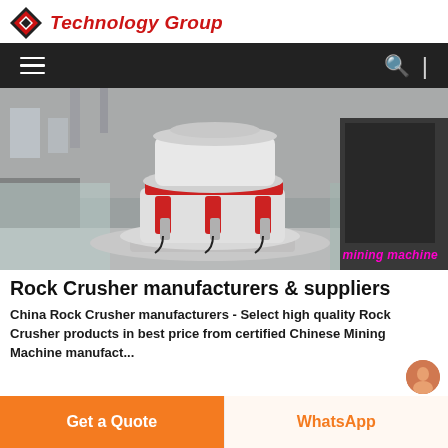Technology Group
[Figure (photo): Large industrial cone crusher / rock crusher machine photographed in a factory floor setting, with a 'mining machine' label overlaid in magenta italic text.]
Rock Crusher manufacturers & suppliers
China Rock Crusher manufacturers - Select high quality Rock Crusher products in best price from certified Chinese Mining Machine manufacturers...
Get a Quote
WhatsApp